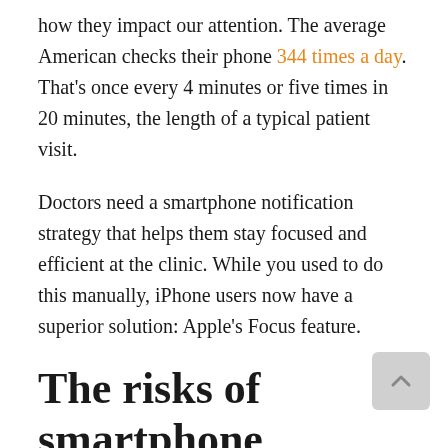how they impact our attention. The average American checks their phone 344 times a day. That's once every 4 minutes or five times in 20 minutes, the length of a typical patient visit.
Doctors need a smartphone notification strategy that helps them stay focused and efficient at the clinic. While you used to do this manually, iPhone users now have a superior solution: Apple's Focus feature.
The risks of smartphone distraction
There are many legitimate reasons to use your smartphone at work. You might need to communicate with colleagues, keep up with medical news, or consult a clinical reference tool. You might use your device for mobile dictation or to streamline your